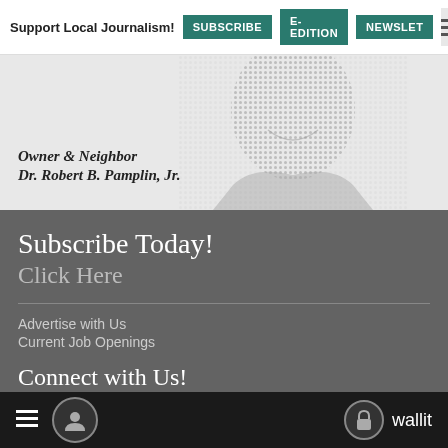Support Local Journalism! SUBSCRIBE E-EDITION NEWSLET
[Figure (photo): Halftone portrait of Dr. Robert B. Pamplin Jr. with text 'Owner & Neighbor Dr. Robert B. Pamplin, Jr.']
Subscribe Today!
Click Here
Advertise with Us
Current Job Openings
Connect with Us!
[Figure (logo): Facebook, Twitter, and YouTube social media icons]
≡  [avatar icon]  [lock icon] wallit